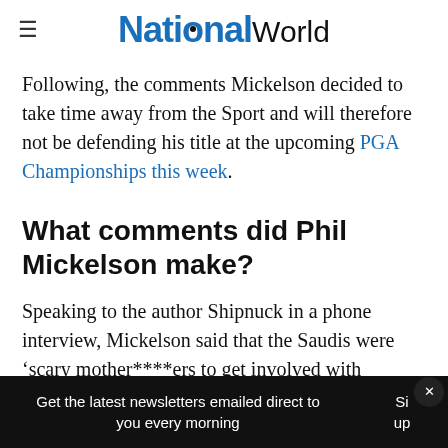NationalWorld
Following, the comments Mickelson decided to take time away from the Sport and will therefore not be defending his title at the upcoming PGA Championships this week.
What comments did Phil Mickelson make?
Speaking to the author Shipnuck in a phone interview, Mickelson said that the Saudis were ‘scary mother****ers to get involved with
Get the latest newsletters emailed direct to you every morning   Sign up